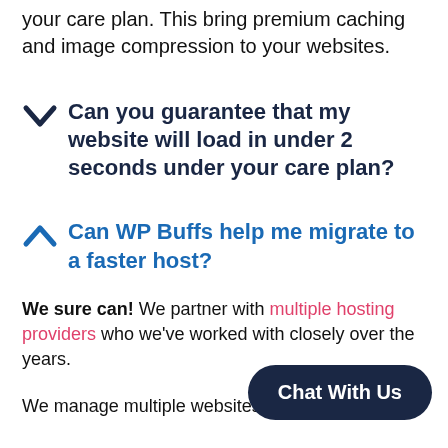your care plan. This bring premium caching and image compression to your websites.
Can you guarantee that my website will load in under 2 seconds under your care plan?
Can WP Buffs help me migrate to a faster host?
We sure can! We partner with multiple hosting providers who we've worked with closely over the years.
We manage multiple websites with each